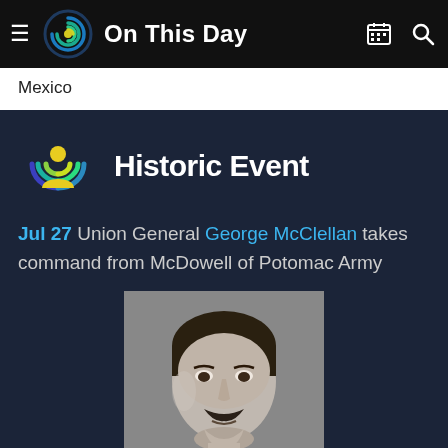On This Day
Mexico
Historic Event
Jul 27 Union General George McClellan takes command from McDowell of Potomac Army
[Figure (photo): Black and white portrait photograph of George McClellan, a man with dark hair and a mustache wearing a dark jacket and white collar.]